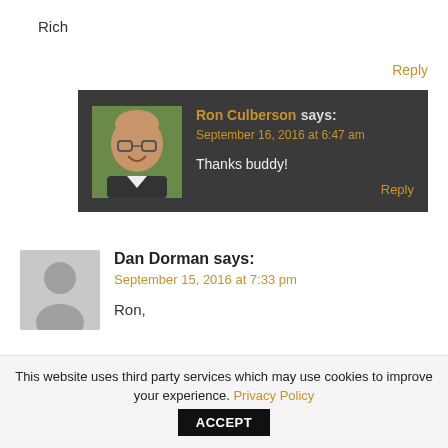Rich
Reply
Ron Culberson says:
September 16, 2016 at 6:47 am
Thanks buddy!
Reply
Dan Dorman says:
September 15, 2016 at 7:33 pm
Ron,
This website uses third party services which may use cookies to improve your experience. Privacy Policy ACCEPT